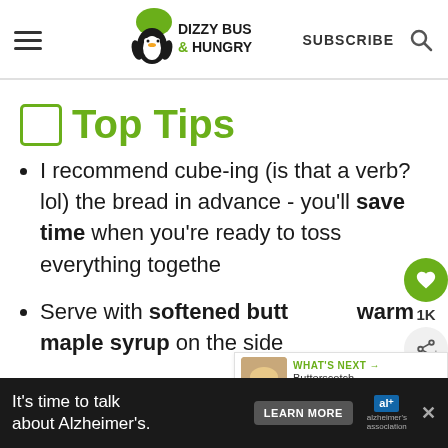Dizzy Busy & Hungry — SUBSCRIBE
Top Tips
I recommend cube-ing (is that a verb? lol) the bread in advance - you'll save time when you're ready to toss everything together.
Serve with softened butter and warm maple syrup on the side.